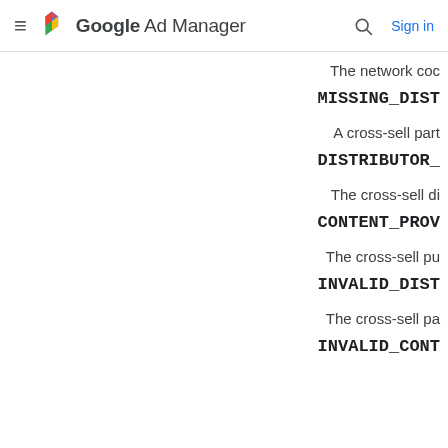Google Ad Manager
The network coc
MISSING_DIST
A cross-sell part
DISTRIBUTOR_
The cross-sell di
CONTENT_PROV
The cross-sell pu
INVALID_DIST
The cross-sell pa
INVALID_CONT